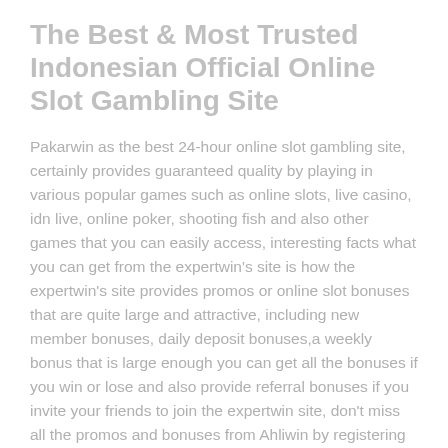The Best & Most Trusted Indonesian Official Online Slot Gambling Site
Pakarwin as the best 24-hour online slot gambling site, certainly provides guaranteed quality by playing in various popular games such as online slots, live casino, idn live, online poker, shooting fish and also other games that you can easily access, interesting facts what you can get from the expertwin's site is how the expertwin's site provides promos or online slot bonuses that are quite large and attractive, including new member bonuses, daily deposit bonuses,a weekly bonus that is large enough you can get all the bonuses if you win or lose and also provide referral bonuses if you invite your friends to join the expertwin site, don't miss all the promos and bonuses from Ahliwin by registering an online slot account you can start and choose the game you want you play and it is suitable for you to play on the expertwin online slot gambling site.
If you hear online slot gambling games, of course, they are still related to some extent, since most through this online slot...